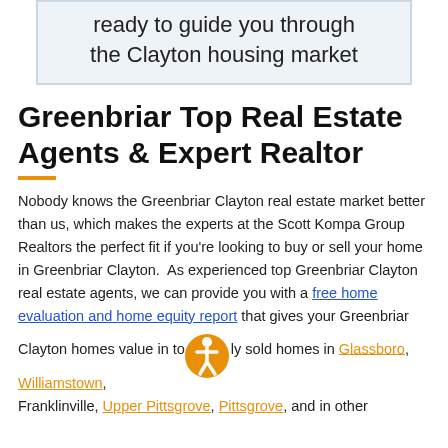ready to guide you through the Clayton housing market
Greenbriar Top Real Estate Agents & Expert Realtor
Nobody knows the Greenbriar Clayton real estate market better than us, which makes the experts at the Scott Kompa Group Realtors the perfect fit if you're looking to buy or sell your home in Greenbriar Clayton.  As experienced top Greenbriar Clayton real estate agents, we can provide you with a free home evaluation and home equity report that gives your Greenbriar Clayton homes value in today's market, as well as updated market stats that detail recently sold homes in Glassboro, Williamstown, Franklinville, Upper Pittsgrove, Pittsgrove, and in other